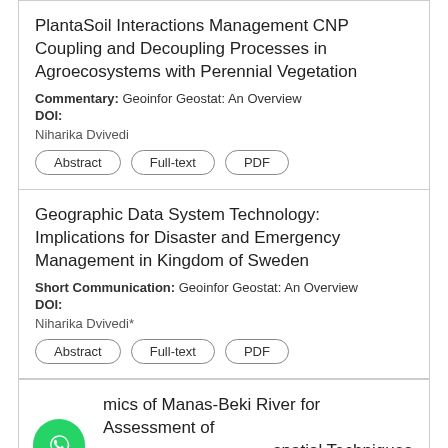Planta–Soil Interactions Management CNP Coupling and Decoupling Processes in Agroecosystems with Perennial Vegetation
Commentary: Geoinfor Geostat: An Overview
DOI:
Niharika Dvivedi
Abstract | Full-text | PDF
Geographic Data System Technology: Implications for Disaster and Emergency Management in Kingdom of Sweden
Short Communication: Geoinfor Geostat: An Overview
DOI:
Niharika Dvivedi*
Abstract | Full-text | PDF
mics of Manas-Beki River for Assessment of …spatial Techniques
Shor
DOI: